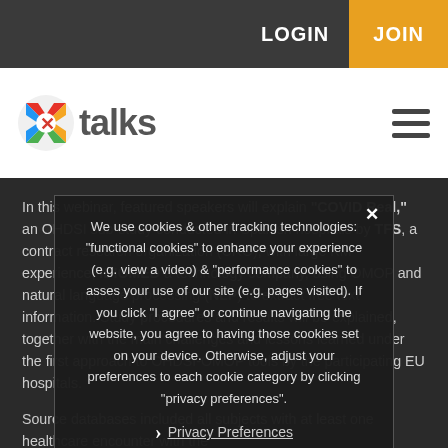LOGIN  JOIN
[Figure (logo): Xtalks logo with colorful X icon and grey 'talks' text]
In this webinar, featured speakers will explain "COVID Real," an OHDSI sub-study conducted in Spanish hospitals by TFS, a contract research organization (CRO), with large KM experience, IDIOMED a technology company, using OMOP and natural language processing (NLP) to extract free text information. Study procedures and results will be explained, together with the main challenges and lessons learned under the first approach to OHDSI-OMOP tools by the participating EU hospitals.
Source databases included all subjects with at least one healthcare encounter with the
We use cookies & other tracking technologies: "functional cookies" to enhance your experience (e.g. view a video) & "performance cookies" to asses your use of our site (e.g. pages visited). If you click "I agree" or continue navigating the website, you agree to having those cookies set on your device. Otherwise, adjust your preferences to each cookie category by clicking "privacy preferences".
Privacy Preferences
I Agree